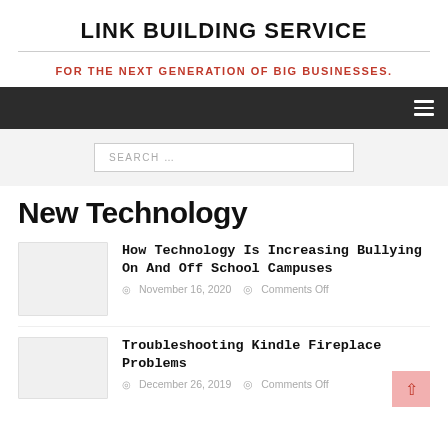LINK BUILDING SERVICE
FOR THE NEXT GENERATION OF BIG BUSINESSES.
[Figure (screenshot): Dark navigation bar with hamburger menu icon on the right]
SEARCH …
New Technology
How Technology Is Increasing Bullying On And Off School Campuses
November 16, 2020   Comments Off
Troubleshooting Kindle Fireplace Problems
December 26, 2019   Comments Off